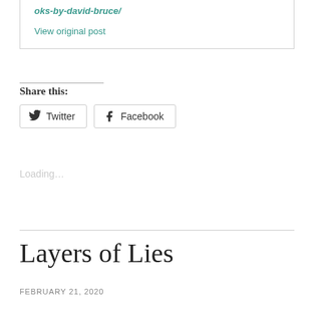oks-by-david-bruce/
View original post
Share this:
Twitter  Facebook
Loading...
Layers of Lies
FEBRUARY 21, 2020